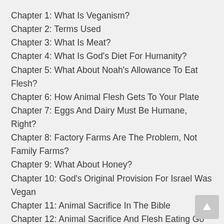Chapter 1: What Is Veganism?
Chapter 2: Terms Used
Chapter 3: What Is Meat?
Chapter 4: What Is God's Diet For Humanity?
Chapter 5: What About Noah's Allowance To Eat Flesh?
Chapter 6: How Animal Flesh Gets To Your Plate
Chapter 7: Eggs And Dairy Must Be Humane, Right?
Chapter 8: Factory Farms Are The Problem, Not Family Farms?
Chapter 9: What About Honey?
Chapter 10: God's Original Provision For Israel Was Vegan
Chapter 11: Animal Sacrifice In The Bible
Chapter 12: Animal Sacrifice And Flesh Eating Go Together?
Chapter 13: Is All Animal Flesh A Sacrifice To Idols?
Chapter 14: Compassion Towards Animals In Scripture
Chapter 15: Fish In The Bible
Chapter 16: Do Fish Lives Matter?
Chapter 17: The Feeding Of The Multitudes